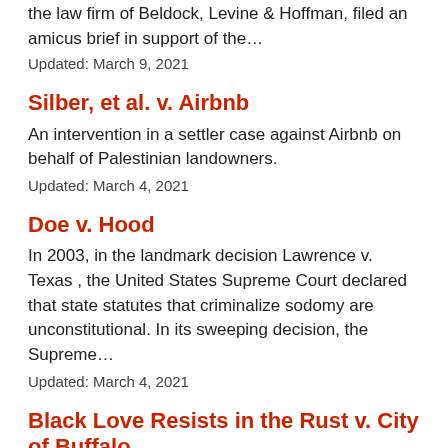the law firm of Beldock, Levine & Hoffman, filed an amicus brief in support of the…
Updated: March 9, 2021
Silber, et al. v. Airbnb
An intervention in a settler case against Airbnb on behalf of Palestinian landowners.
Updated: March 4, 2021
Doe v. Hood
In 2003, in the landmark decision Lawrence v. Texas , the United States Supreme Court declared that state statutes that criminalize sodomy are unconstitutional. In its sweeping decision, the Supreme…
Updated: March 4, 2021
Black Love Resists in the Rust v. City of Buffalo
In the summer of 2012, the Buffalo Police Department